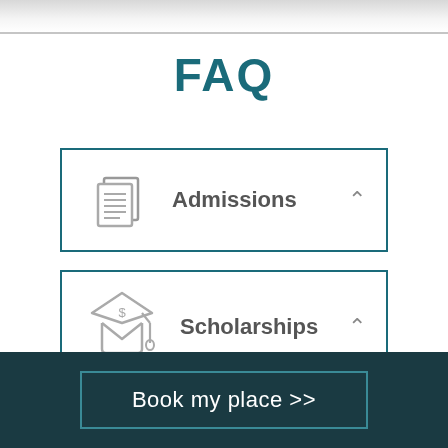FAQ
Admissions
Scholarships
Book my place >>